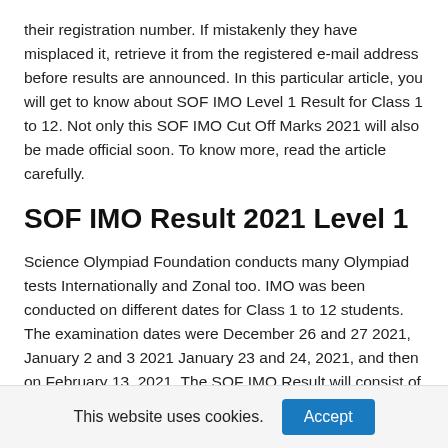their registration number. If mistakenly they have misplaced it, retrieve it from the registered e-mail address before results are announced. In this particular article, you will get to know about SOF IMO Level 1 Result for Class 1 to 12. Not only this SOF IMO Cut Off Marks 2021 will also be made official soon. To know more, read the article carefully.
SOF IMO Result 2021 Level 1
Science Olympiad Foundation conducts many Olympiad tests Internationally and Zonal too. IMO was been conducted on different dates for Class 1 to 12 students. The examination dates were December 26 and 27 2021, January 2 and 3 2021 January 23 and 24, 2021, and then on February 13, 2021. The SOF IMO Result will consist of
This website uses cookies.